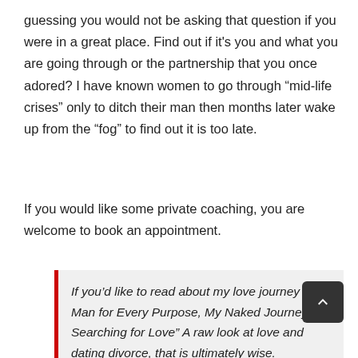guessing you would not be asking that question if you were in a great place. Find out if it's you and what you are going through or the partnership that you once adored? I have known women to go through “mid-life crises” only to ditch their man then months later wake up from the “fog” to find out it is too late.
If you would like some private coaching, you are welcome to book an appointment.
If you’d like to read about my love journey “A Man for Every Purpose, My Naked Journey Searching for Love” A raw look at love and dating divorce, that is ultimately wise.